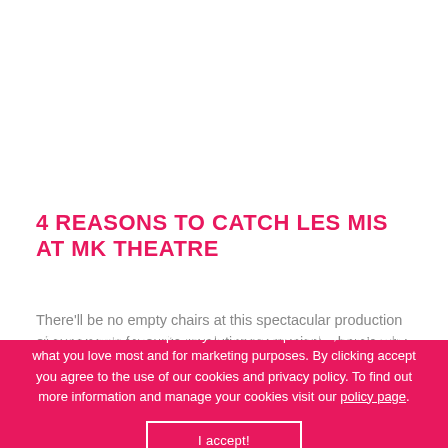4 REASONS TO CATCH LES MIS AT MK THEATRE
There'll be no empty chairs at this spectacular production of everyone's favourite revolutionary musical – here's why you need to grab a ticket, tout suite.
We use cookies to improve your online experience, understand what you love most and for marketing purposes. By clicking accept you agree to the use of our cookies and privacy policy. To find out more information and manage your cookies visit our policy page.